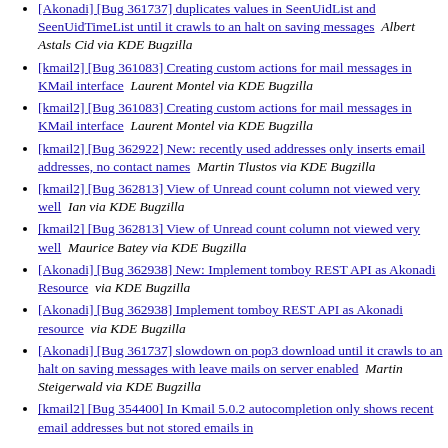[Akonadi] [Bug 361737] duplicates values in SeenUidList and SeenUidTimeList until it crawls to an halt on saving messages  Albert Astals Cid via KDE Bugzilla
[kmail2] [Bug 361083] Creating custom actions for mail messages in KMail interface  Laurent Montel via KDE Bugzilla
[kmail2] [Bug 361083] Creating custom actions for mail messages in KMail interface  Laurent Montel via KDE Bugzilla
[kmail2] [Bug 362922] New: recently used addresses only inserts email addresses, no contact names  Martin Tlustos via KDE Bugzilla
[kmail2] [Bug 362813] View of Unread count column not viewed very well  Ian via KDE Bugzilla
[kmail2] [Bug 362813] View of Unread count column not viewed very well  Maurice Batey via KDE Bugzilla
[Akonadi] [Bug 362938] New: Implement tomboy REST API as Akonadi Resource  via KDE Bugzilla
[Akonadi] [Bug 362938] Implement tomboy REST API as Akonadi resource  via KDE Bugzilla
[Akonadi] [Bug 361737] slowdown on pop3 download until it crawls to an halt on saving messages with leave mails on server enabled  Martin Steigerwald via KDE Bugzilla
[kmail2] [Bug 354400] In Kmail 5.0.2 autocompletion only shows recent email addresses but not stored emails in